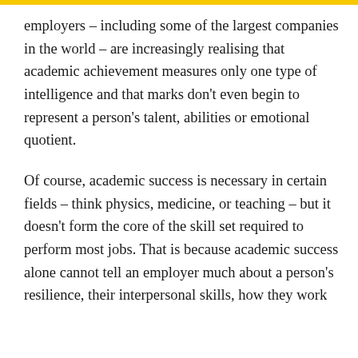employers – including some of the largest companies in the world – are increasingly realising that academic achievement measures only one type of intelligence and that marks don't even begin to represent a person's talent, abilities or emotional quotient.
Of course, academic success is necessary in certain fields – think physics, medicine, or teaching – but it doesn't form the core of the skill set required to perform most jobs. That is because academic success alone cannot tell an employer much about a person's resilience, their interpersonal skills, how they work